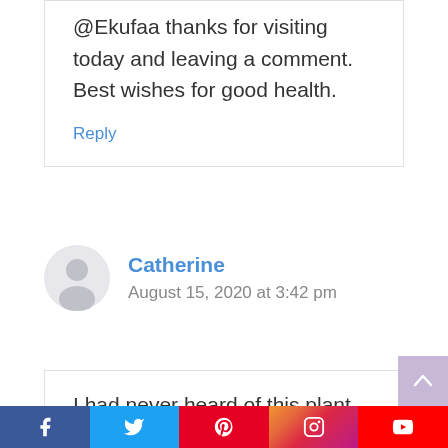@Ekufaa thanks for visiting today and leaving a comment. Best wishes for good health.
Reply
Catherine
August 15, 2020 at 3:42 pm
I had never heard of this plant before.